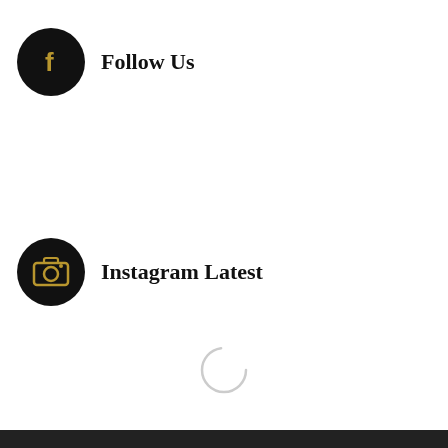Follow Us
Instagram Latest
[Figure (other): Loading spinner circle (thin gray arc), indicating Instagram feed loading]